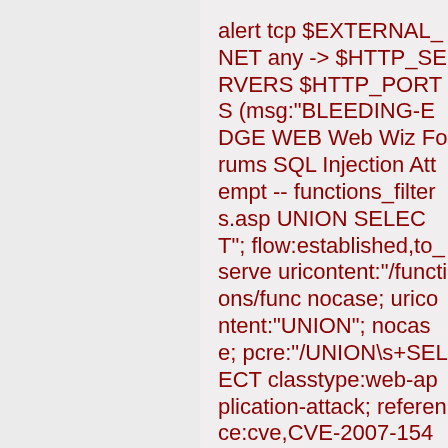alert tcp $EXTERNAL_NET any -> $HTTP_SERVERS $HTTP_PORTS (msg:"BLEEDING-EDGE WEB Web Wiz Forums SQL Injection Attempt -- functions_filters.asp UNION SELECT"; flow:established,to_server; uricontent:"/functions/func nocase; uricontent:"UNION"; nocase; pcre:"/UNION\s+SELECT classtype:web-application-attack; reference:cve,CVE-2007-1548;